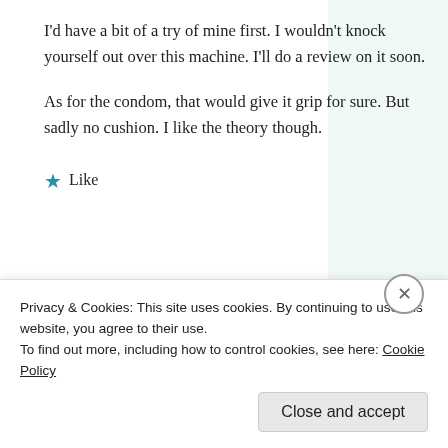I'd have a bit of a try of mine first. I wouldn't knock yourself out over this machine. I'll do a review on it soon.
As for the condom, that would give it grip for sure. But sadly no cushion. I like the theory though.
★ Like
Reply
Privacy & Cookies: This site uses cookies. By continuing to use this website, you agree to their use.
To find out more, including how to control cookies, see here: Cookie Policy
Close and accept